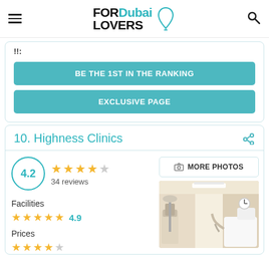FOR Dubai LOVERS
!!
BE THE 1ST IN THE RANKING
EXCLUSIVE PAGE
10. Highness Clinics
4.2 — 34 reviews
Facilities 4.9
Prices
[Figure (photo): Interior of Highness Clinics showing medical equipment and white walls]